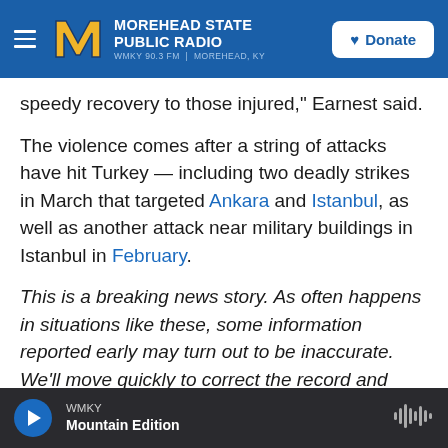Morehead State Public Radio — WMKY 90.3 FM | Morehead, KY | Donate
speedy recovery to those injured," Earnest said.
The violence comes after a string of attacks have hit Turkey — including two deadly strikes in March that targeted Ankara and Istanbul, as well as another attack near military buildings in Istanbul in February.
This is a breaking news story. As often happens in situations like these, some information reported early may turn out to be inaccurate. We'll move quickly to correct the record and we'll only point to the best information we have at the time. Click
WMKY — Mountain Edition (player bar)